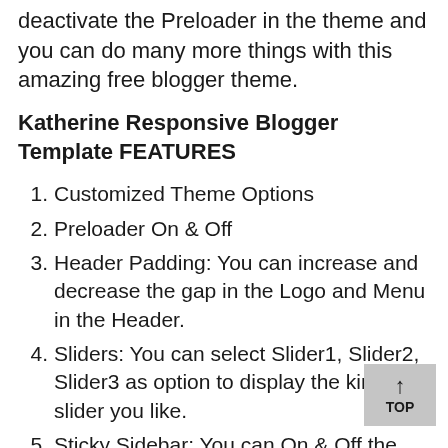deactivate the Preloader in the theme and you can do many more things with this amazing free blogger theme.
Katherine Responsive Blogger Template FEATURES
1. Customized Theme Options
2. Preloader On & Off
3. Header Padding: You can increase and decrease the gap in the Logo and Menu in the Header.
4. Sliders: You can select Slider1, Slider2, Slider3 as option to display the kind of slider you like.
5. Sticky Sidebar: You can...